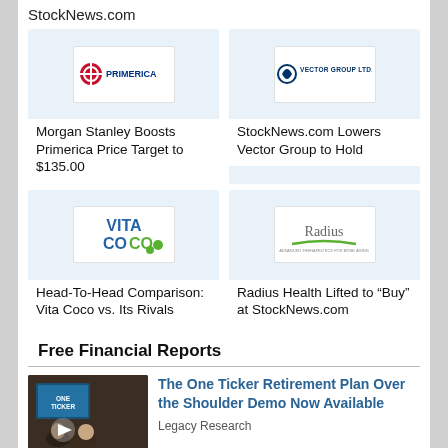StockNews.com
[Figure (logo): Primerica logo]
Morgan Stanley Boosts Primerica Price Target to $135.00
[Figure (logo): Vector Group Ltd. logo]
StockNews.com Lowers Vector Group to Hold
[Figure (logo): Vita Coco logo]
Head-To-Head Comparison: Vita Coco vs. Its Rivals
[Figure (logo): Radius Health logo]
Radius Health Lifted to “Buy” at StockNews.com
Free Financial Reports
[Figure (photo): Video thumbnail showing two people in a TV studio setting with ONE TICKER text]
The One Ticker Retirement Plan Over the Shoulder Demo Now Available
Legacy Research